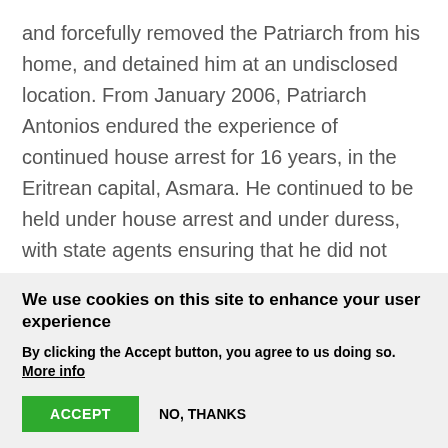and forcefully removed the Patriarch from his home, and detained him at an undisclosed location. From January 2006, Patriarch Antonios endured the experience of continued house arrest for 16 years, in the Eritrean capital, Asmara. He continued to be held under house arrest and under duress, with state agents ensuring that he did not receive any messages from the people of the country and his diaspora followers. He was treated as a criminal, was not allowed to go to church or leave the premises. He was also isolated from contacting close friends...
We use cookies on this site to enhance your user experience
By clicking the Accept button, you agree to us doing so. More info